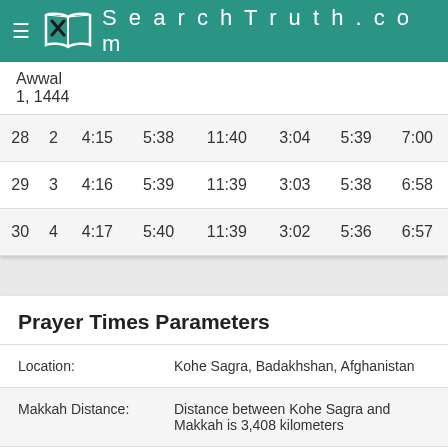SearchTruth.com
|  | Awwal 1, 1444 |  |  |  |  |  |  |
| 28 | 2 | 4:15 | 5:38 | 11:40 | 3:04 | 5:39 | 7:00 |
| 29 | 3 | 4:16 | 5:39 | 11:39 | 3:03 | 5:38 | 6:58 |
| 30 | 4 | 4:17 | 5:40 | 11:39 | 3:02 | 5:36 | 6:57 |
Prayer Times Parameters
| Location: | Kohe Sagra, Badakhshan, Afghanistan |
| Makkah Distance: | Distance between Kohe Sagra and Makkah is 3,408 kilometers |
| Madina Distance: | Distance between Kohe Sagra and Madina is 3,008 kilometers |